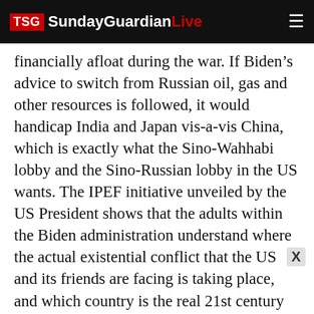TSG SundayGuardianLive
financially afloat during the war. If Biden's advice to switch from Russian oil, gas and other resources is followed, it would handicap India and Japan vis-a-vis China, which is exactly what the Sino-Wahhabi lobby and the Sino-Russian lobby in the US wants. The IPEF initiative unveiled by the US President shows that the adults within the Biden administration understand where the actual existential conflict that the US and its friends are facing is taking place, and which country is the real 21st century threat to US primacy, in the way that the USSR (but never the Russian Federation) was during much of the 20th. Prime Minister Modi has